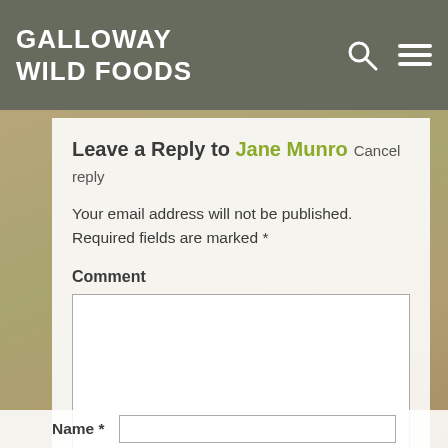GALLOWAY
WILD FOODS
Leave a Reply to Jane Munro Cancel reply
Your email address will not be published. Required fields are marked *
Comment
Name *